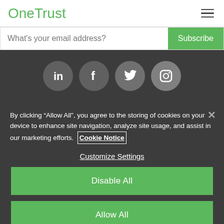OneTrust
What's your email address?
Subscribe
[Figure (infographic): Social media icons: LinkedIn, Facebook, Twitter, Instagram — white icons on grey circular backgrounds]
By clicking “Allow All”, you agree to the storing of cookies on your device to enhance site navigation, analyze site usage, and assist in our marketing efforts. Cookie Notice
Customize Settings
Disable All
Allow All